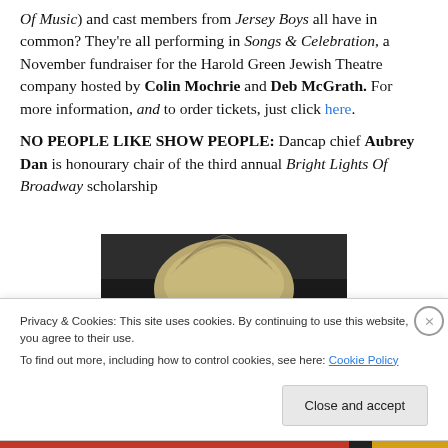Of Music) and cast members from Jersey Boys all have in common? They're all performing in Songs & Celebration, a November fundraiser for the Harold Green Jewish Theatre company hosted by Colin Mochrie and Deb McGrath. For more information, and to order tickets, just click here.
NO PEOPLE LIKE SHOW PEOPLE: Dancap chief Aubrey Dan is honourary chair of the third annual Bright Lights Of Broadway scholarship
[Figure (photo): Partial photo of a person with blonde/light hair, dark background, top of head visible]
Privacy & Cookies: This site uses cookies. By continuing to use this website, you agree to their use. To find out more, including how to control cookies, see here: Cookie Policy
Close and accept